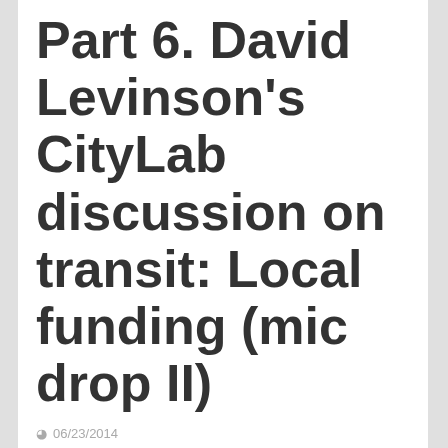Part 6. David Levinson’s CityLab discussion on transit: Local funding (mic drop II)
06/23/2014
LISA SCHWEITZER
This is last one of my reflections on David Levinson’s important contribution via CityLab on How to Make Mass Transit Funding Sustainable Once and For All.
My responses so far: